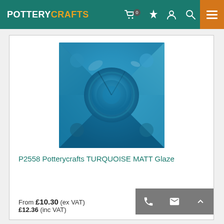POTTERY CRAFTS
[Figure (photo): A square turquoise blue glazed ceramic tile with raised geometric pattern featuring a central circle and diagonal ridges, photographed on a white background.]
P2558 Potterycrafts TURQUOISE MATT Glaze
From £10.30 (ex VAT)
£12.36 (inc VAT)